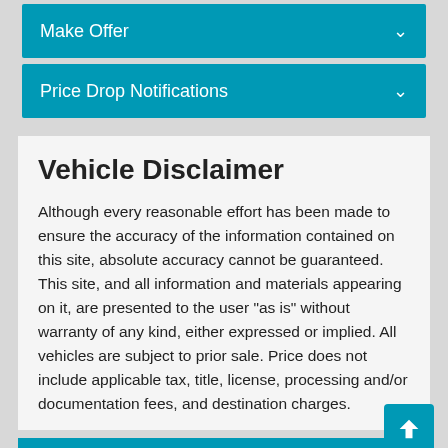Make Offer
Price Drop Notifications
Vehicle Disclaimer
Although every reasonable effort has been made to ensure the accuracy of the information contained on this site, absolute accuracy cannot be guaranteed. This site, and all information and materials appearing on it, are presented to the user "as is" without warranty of any kind, either expressed or implied. All vehicles are subject to prior sale. Price does not include applicable tax, title, license, processing and/or documentation fees, and destination charges.
Text Us